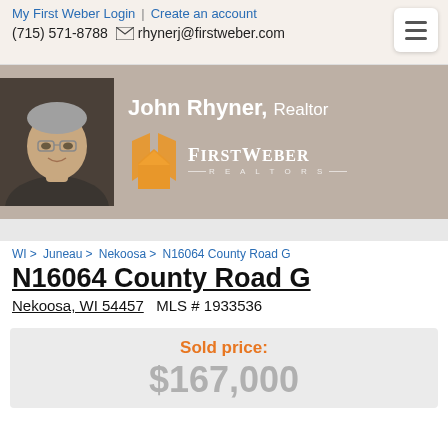My First Weber Login | Create an account
(715) 571-8788  rhynerj@firstweber.com
[Figure (photo): Headshot photo of John Rhyner, an older man with gray hair and glasses wearing a dark jacket, against a dark background]
John Rhyner, Realtor
[Figure (logo): First Weber Realtors logo with orange geometric house/flame icon and white text]
WI > Juneau > Nekoosa > N16064 County Road G
N16064 County Road G
Nekoosa, WI 54457   MLS # 1933536
Sold price:
$167,000